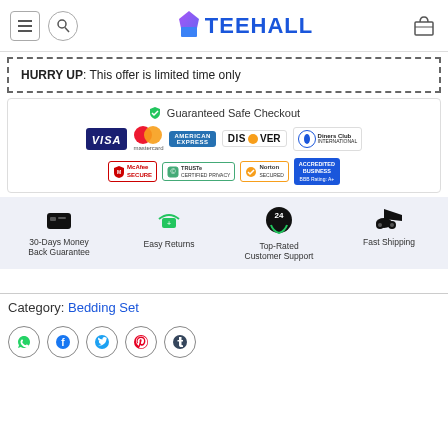TEEHALL
HURRY UP: This offer is limited time only
[Figure (infographic): Guaranteed Safe Checkout section with payment logos: VISA, Mastercard, American Express, Discover, Diners Club International, and security badges: McAfee SECURE, TRUSTe Certified Privacy, Norton SECURED, BBB Accredited Business Rating A+]
[Figure (infographic): Benefits section with four icons and labels: 30-Days Money Back Guarantee, Easy Returns, Top-Rated Customer Support, Fast Shipping]
Category: Bedding Set
[Figure (infographic): Social media share icons: WhatsApp, Facebook, Twitter, Pinterest, Tumblr]